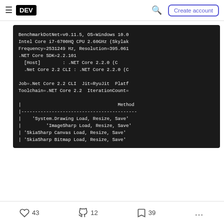DEV — Create account
[Figure (screenshot): Terminal/code block showing BenchmarkDotNet output with system info and benchmark table rows for System.Drawing, ImageSharp, SkiaSharp Canvas, SkiaSharp Bitmap]
43 likes, 12 unicorns, 39 bookmarks